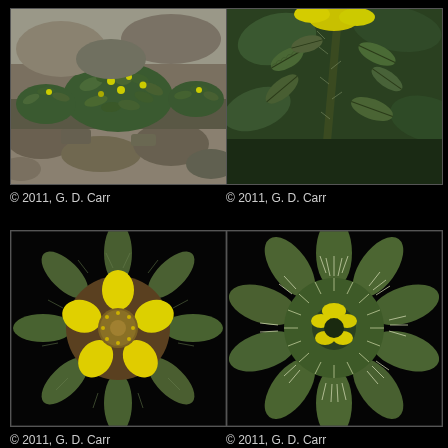[Figure (photo): Aerial view of a low-growing plant on rocky substrate, with small yellow flowers and green rosette leaves]
© 2011, G. D. Carr
[Figure (photo): Close-up of hairy green leaf stems and compound leaves of a Potentilla species]
© 2011, G. D. Carr
[Figure (photo): Front view of a yellow five-petaled flower with hairy green sepals, showing stamens and pistils]
© 2011, G. D. Carr
[Figure (photo): Back/reverse view of a yellow flower showing hairy star-shaped green sepals and epicalyx]
© 2011, G. D. Carr